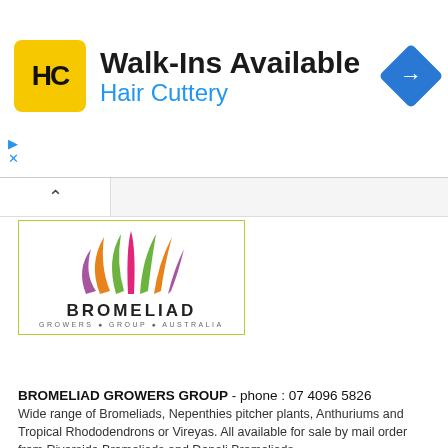[Figure (illustration): Hair Cuttery advertisement banner with HC logo in yellow square, Walk-Ins Available text, Hair Cuttery subtitle in blue, and blue diamond navigation icon]
[Figure (logo): Bromeliad Growers Group Australia logo with colorful leaf/flower design and text BROMELIAD GROWERS GROUP AUSTRALIA]
BROMELIAD GROWERS GROUP - phone : 07 4096 5826
Wide range of Bromeliads, Nepenthies pitcher plants, Anthuriums and Tropical Rhododendrons or Vireyas. All available for sale by mail order from Riverside Bromeliads and Denali Bromeliads.
www.bgga.com.au
[Figure (logo): Garden Express logo with red flower and green cursive text, Delivering Australia's Best Gardens, www.gardenexpress.com.au]
GARDEN EXPRESS - phone :1300 606 242
470 Monbulk Silvan Road Monbulk VIC 3793